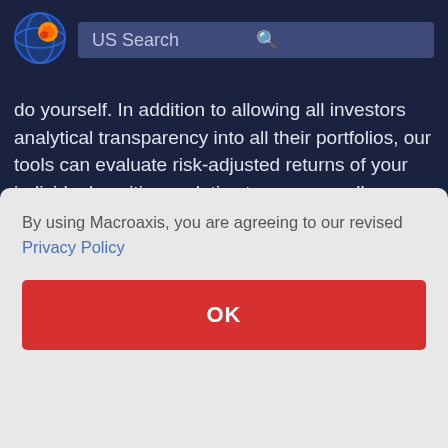[Figure (logo): Macroaxis logo - globe with orange and blue colors]
US Search
do yourself. In addition to allowing all investors analytical transparency into all their portfolios, our tools can evaluate risk-adjusted returns of your individual positions relative to your overall portfolio.
Did You Try This?
By using Macroaxis, you are agreeing to our revised Privacy Policy
OK